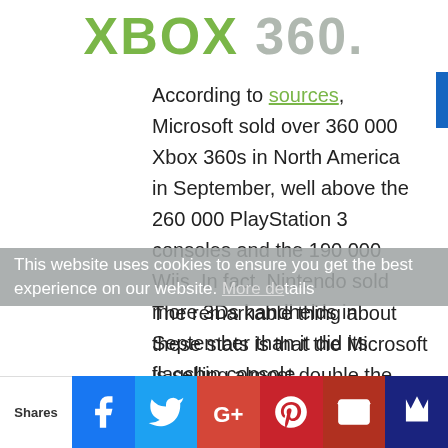[Figure (logo): Xbox 360 logo in green and gray]
According to sources, Microsoft sold over 360 000 Xbox 360s in North America in September, well above the 260 000 PlayStation 3 consoles and the 190 000 Wiis. In fact, Nintendo sold more 3Ds handhelds in September than it did its flagship console.
The remarkable thing about these stats is that the Microsoft is selling almost double the consoles that Nintendo is. As we all know, the Wii was once the king of the charts, all but dominating this
This website uses cookies to ensure you get the best experience on our website. More details
Shares  [Facebook] [Twitter] [G+] [Pinterest] [Email] [Crown]